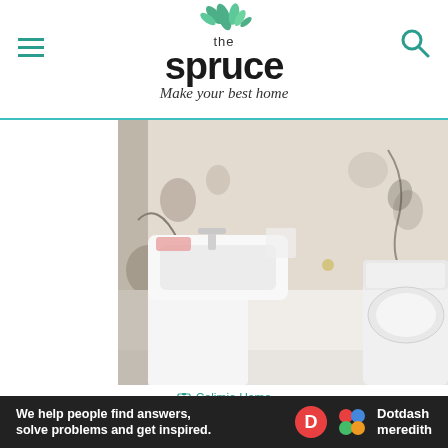the spruce — Make your best home
[Figure (photo): Bathroom with white pedestal sink and floral wallpaper, toilet visible on right side]
Calimia Home
If you're painting an entire room, it's probably wise to stick with something that will last year-round. But, as McCollum notes, spring is the
[Figure (other): Dotdash Meredith advertisement banner: We help people find answers, solve problems and get inspired.]